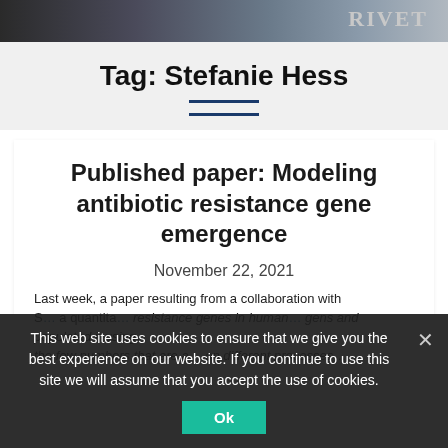[Figure (photo): Top banner image showing people in dark tones with text 'RIVET' visible on the right side]
Tag: Stefanie Hess
Published paper: Modeling antibiotic resistance gene emergence
November 22, 2021
Last week, a paper resulting from a collaboration with S… a quantita… resistance genes in human… gens and populated it using the few numbers that are a… on different processes…
This web site uses cookies to ensure that we give you the best experience on our website. If you continue to use this site we will assume that you accept the use of cookies.